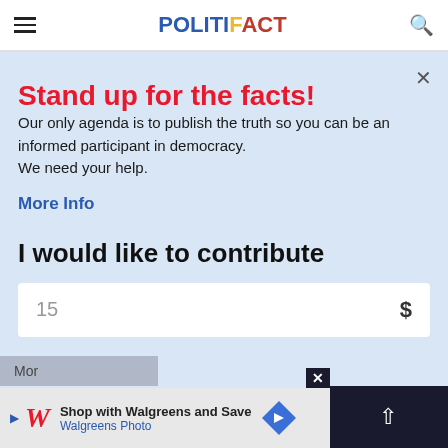POLITIFACT
Stand up for the facts!
Our only agenda is to publish the truth so you can be an informed participant in democracy. We need your help.
More Info
I would like to contribute
15  $
[Figure (screenshot): Walgreens advertisement banner: Shop with Walgreens and Save, Walgreens Photo]